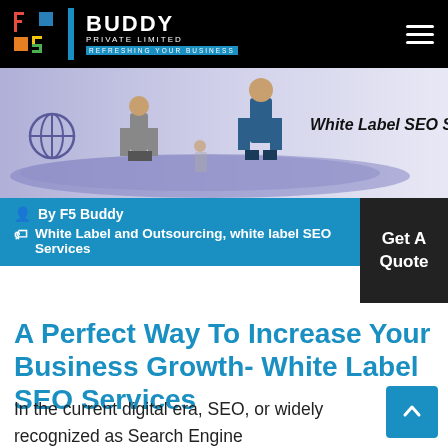F5 BUDDY PRIVATE LIMITED — REFRESHING YOUR BUSINESS
[Figure (illustration): Hero banner showing White Label SEO Services with cartoon business figures on a purple/grey gradient background]
By F5 Buddy
White Label and Outsourcing, white label SEO Services
A Perfect Way To Increase Your Business Growth- White Label SEO Services
In the current digital era, SEO, or widely recognized as Search Engine Optimization, plays a critical role in increasing